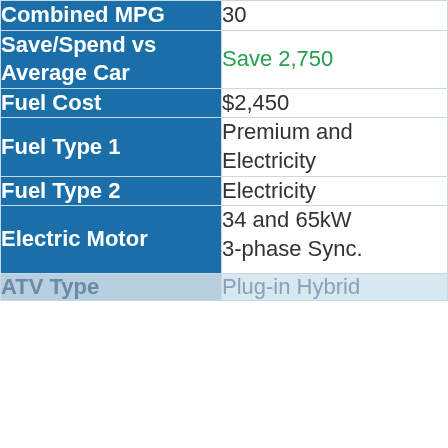| Field | Value |
| --- | --- |
| Combined MPG | 30 |
| Save/Spend vs Average Car | Save 2,750 |
| Fuel Cost | $2,450 |
| Fuel Type 1 | Premium and Electricity |
| Fuel Type 2 | Electricity |
| Electric Motor | 34 and 65kW 3-phase Sync. |
| ATV Type | Plug-in Hybrid |